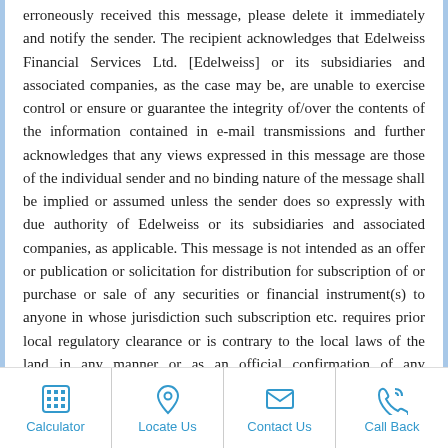erroneously received this message, please delete it immediately and notify the sender. The recipient acknowledges that Edelweiss Financial Services Ltd. [Edelweiss] or its subsidiaries and associated companies, as the case may be, are unable to exercise control or ensure or guarantee the integrity of/over the contents of the information contained in e-mail transmissions and further acknowledges that any views expressed in this message are those of the individual sender and no binding nature of the message shall be implied or assumed unless the sender does so expressly with due authority of Edelweiss or its subsidiaries and associated companies, as applicable. This message is not intended as an offer or publication or solicitation for distribution for subscription of or purchase or sale of any securities or financial instrument(s) to anyone in whose jurisdiction such subscription etc. requires prior local regulatory clearance or is contrary to the local laws of the land in any manner or as an official confirmation of any transaction. Before opening any attachments please check them for
Calculator | Locate Us | Contact Us | Call Back